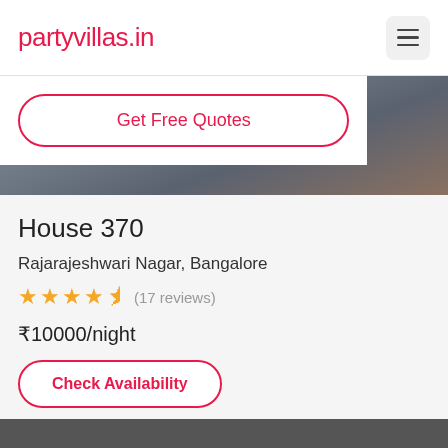partyvillas.in
[Figure (screenshot): Hamburger/menu icon button (three horizontal lines) in a rounded square button on the top right of the navigation bar]
Get Free Quotes
[Figure (photo): Hero image showing an interior room scene with a bed partially visible, muted grey-blue and brown tones]
House 370
Rajarajeshwari Nagar, Bangalore
★★★★½ (17 reviews)
₹10000/night
Check Availability
[Figure (photo): Bottom strip showing the top of another photo, partially visible, dark tones]